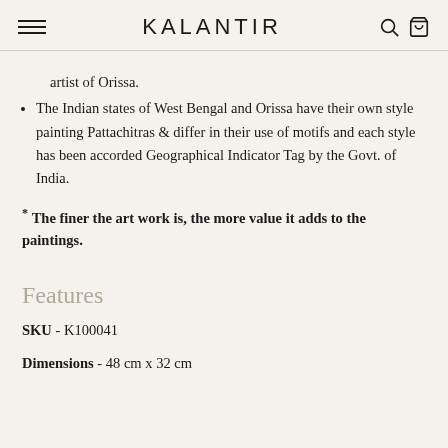KALANTIR
artist of Orissa.
The Indian states of West Bengal and Orissa have their own style painting Pattachitras & differ in their use of motifs and each style has been accorded Geographical Indicator Tag by the Govt. of India.
* The finer the art work is, the more value it adds to the paintings.
Features
SKU - K100041
Dimensions - 48 cm x 32 cm